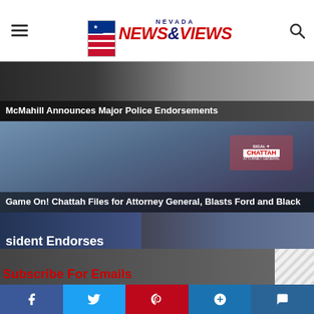Nevada News & Views
[Figure (photo): McMahill campaign banner photo - dark background with figure]
McMahill Announces Major Police Endorsements
[Figure (photo): Chattah rally photo - crowd holding Sigal Chattah campaign signs outdoors]
Game On! Chattah Files for Attorney General, Blasts Ford and Black
[Figure (photo): Lexit Nevada event photo - woman and man in front of American flag backdrop with Joey Gilbert signage]
Lexit Nevada President Endorses Nevada Governor Candidate Joey Gilbert
[Figure (photo): Partial dark photo with red Subscribe text partially visible at bottom]
Social share buttons: Facebook, Twitter, Pinterest, Google+, Comments